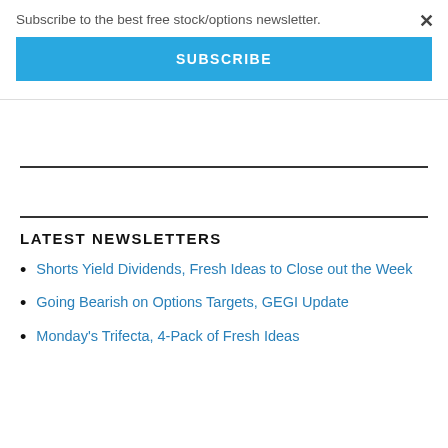Subscribe to the best free stock/options newsletter.
SUBSCRIBE
×
LATEST NEWSLETTERS
Shorts Yield Dividends, Fresh Ideas to Close out the Week
Going Bearish on Options Targets, GEGI Update
Monday's Trifecta, 4-Pack of Fresh Ideas